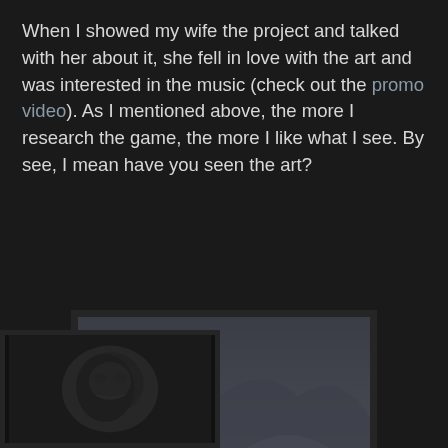When I showed my wife the project and talked with her about it, she fell in love with the art and was interested in the music (check out the promo video). As I mentioned above, the more I research the game, the more I like what I see. By see, I mean have you seen the art?
[Figure (illustration): A dark fantasy illustration in a black frame showing a snow-covered forest of tall pine trees under a dramatic misty mountain. Small figures visible at the bottom of the scene in a lit clearing.]
[Figure (photo): Partial view of a dark, partially visible image cut off at bottom-left corner of the page.]